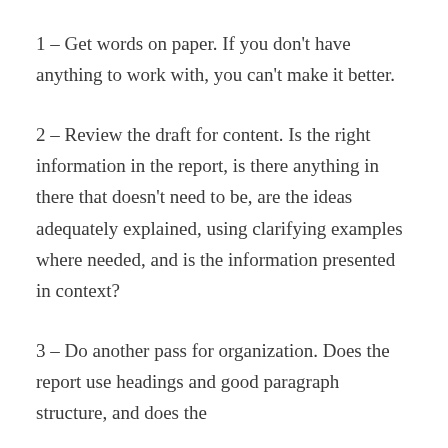1 – Get words on paper. If you don't have anything to work with, you can't make it better.
2 – Review the draft for content. Is the right information in the report, is there anything in there that doesn't need to be, are the ideas adequately explained, using clarifying examples where needed, and is the information presented in context?
3 – Do another pass for organization. Does the report use headings and good paragraph structure, and does the